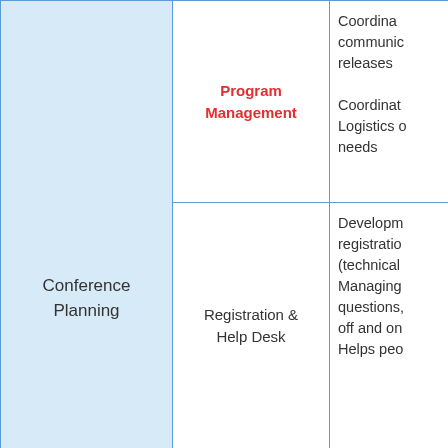|  | Program Management | Coordina... communic... releases Coordinat... Logistics... needs |
| --- | --- | --- |
| Conference Planning | Program Management | Coordina…communic…releases
Coordinat…
Logistics…needs |
| Conference Planning | Registration & Help Desk | Developm…registratio…(technical)
Managing…questions…off and on
Helps peo… |
| Conference Planning | Hall management | Ensuring…per sched…
Help spea…
needs in t… |